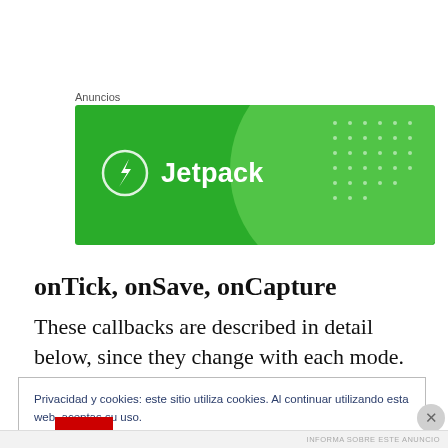Anuncios
[Figure (logo): Jetpack advertisement banner — green background with Jetpack logo (lightning bolt in circle) and brand name in white text]
onTick, onSave, onCapture
These callbacks are described in detail below, since they change with each mode.
Privacidad y cookies: este sitio utiliza cookies. Al continuar utilizando esta web, aceptas su uso.
Para obtener más información, incluido cómo controlar las cookies, consulta aquí: Política de cookies
Cerrar y aceptar